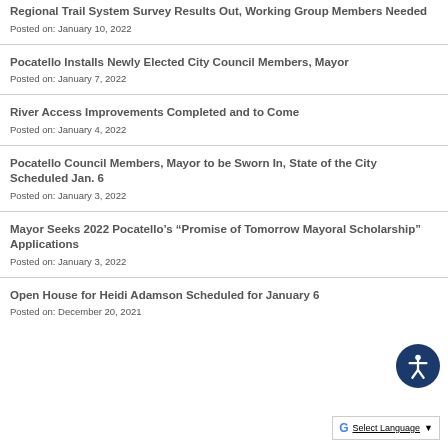Regional Trail System Survey Results Out, Working Group Members Needed
Posted on: January 10, 2022
Pocatello Installs Newly Elected City Council Members, Mayor
Posted on: January 7, 2022
River Access Improvements Completed and to Come
Posted on: January 4, 2022
Pocatello Council Members, Mayor to be Sworn In, State of the City Scheduled Jan. 6
Posted on: January 3, 2022
Mayor Seeks 2022 Pocatello’s “Promise of Tomorrow Mayoral Scholarship” Applications
Posted on: January 3, 2022
Open House for Heidi Adamson Scheduled for January 6
Posted on: December 20, 2021